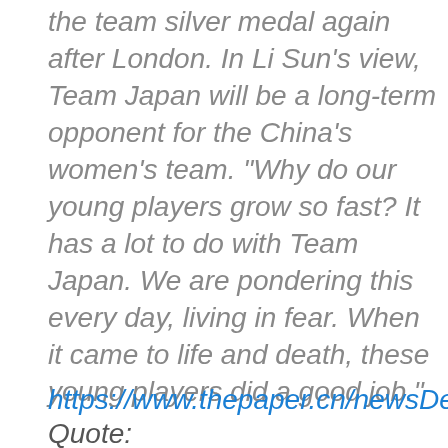the team silver medal again after London. In Li Sun's view, Team Japan will be a long-term opponent for the China's women's team. "Why do our young players grow so fast? It has a lot to do with Team Japan. We are pondering this every day, living in fear. When it came to life and death, these young players did a good job."
https://www.thepaper.cn/newsDeta
Quote: